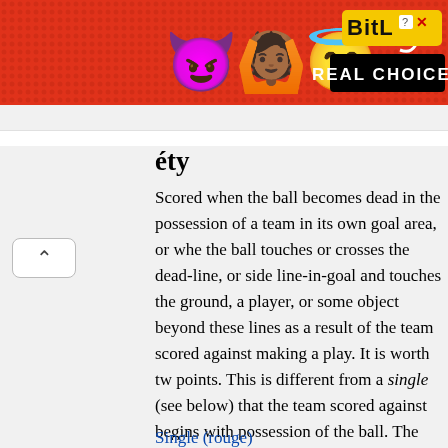[Figure (screenshot): BitLife advertisement banner with emojis (devil, person with raised hands, angel face) on a red dotted background, BitLife logo in yellow, 'REAL CHOICES' text in white on black, sperm icon, close button]
...ty
Scored when the ball becomes dead in the possession of a team in its own goal area, or when the ball touches or crosses the dead-line, or side-line-in-goal and touches the ground, a player, or some object beyond these lines as a result of the team scored against making a play. It is worth two points. This is different from a single (see below) that the team scored against begins with possession of the ball. The most common safety on a third down punt from the end zone, in which the kicker decides not to punt and keeps the ball his team's own goal area. The ball is then turned over to the receiving team (who gained the two points), by way of a kickoff from the 25-yard line scrimmaging from the 35-yard (32 m) line on the side of the field.
Single (rouge)